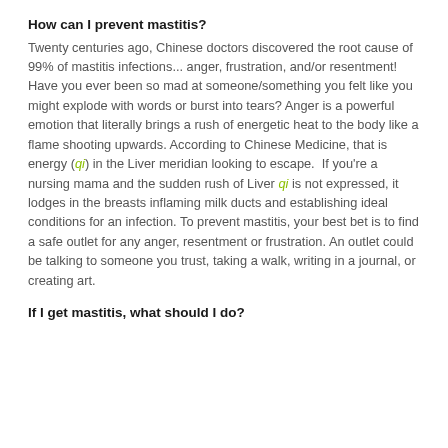How can I prevent mastitis?
Twenty centuries ago, Chinese doctors discovered the root cause of 99% of mastitis infections... anger, frustration, and/or resentment! Have you ever been so mad at someone/something you felt like you might explode with words or burst into tears? Anger is a powerful emotion that literally brings a rush of energetic heat to the body like a flame shooting upwards. According to Chinese Medicine, that is energy (qi) in the Liver meridian looking to escape. If you're a nursing mama and the sudden rush of Liver qi is not expressed, it lodges in the breasts inflaming milk ducts and establishing ideal conditions for an infection. To prevent mastitis, your best bet is to find a safe outlet for any anger, resentment or frustration. An outlet could be talking to someone you trust, taking a walk, writing in a journal, or creating art.
If I get mastitis, what should I do?